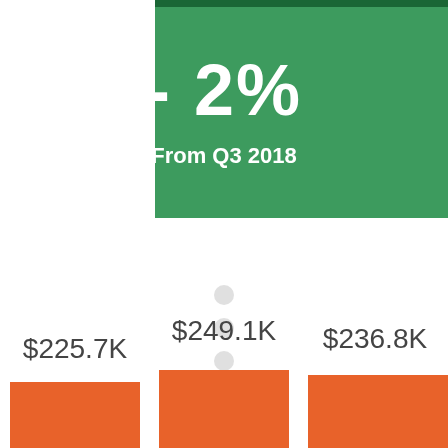[Figure (infographic): Green banner showing -2% change from Q3 2018, with a downward arrow indicator (three dots and chevron), and partial bar chart showing three bars with values $225.7K, $249.1K, $236.8K]